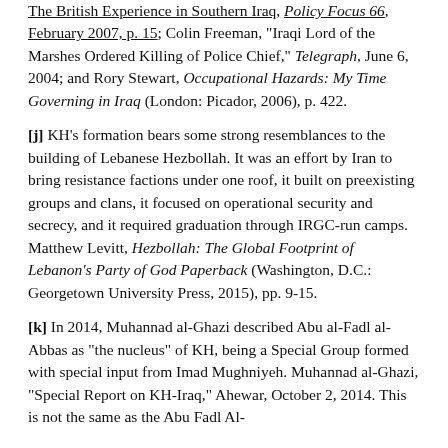The British Experience in Southern Iraq, Policy Focus 66, February 2007, p. 15; Colin Freeman, "Iraqi Lord of the Marshes Ordered Killing of Police Chief," Telegraph, June 6, 2004; and Rory Stewart, Occupational Hazards: My Time Governing in Iraq (London: Picador, 2006), p. 422.
[j] KH’s formation bears some strong resemblances to the building of Lebanese Hezbollah. It was an effort by Iran to bring resistance factions under one roof, it built on preexisting groups and clans, it focused on operational security and secrecy, and it required graduation through IRGC-run camps. Matthew Levitt, Hezbollah: The Global Footprint of Lebanon’s Party of God Paperback (Washington, D.C.: Georgetown University Press, 2015), pp. 9-15.
[k] In 2014, Muhannad al-Ghazi described Abu al-Fadl al-Abbas as “the nucleus” of KH, being a Special Group formed with special input from Imad Mughniyeh. Muhannad al-Ghazi, “Special Report on KH-Iraq,” Ahewar, October 2, 2014. This is not the same as the Abu Fadl Al-